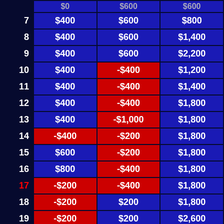| # | Col1 | Col2 | Col3 |
| --- | --- | --- | --- |
|  | $0 | $600 | $600 |
| 7 | $400 | $600 | $800 |
| 8 | $400 | $600 | $1,400 |
| 9 | $400 | $600 | $2,200 |
| 10 | $400 | -$400 | $1,200 |
| 11 | $400 | -$400 | $1,400 |
| 12 | $400 | -$400 | $1,800 |
| 13 | $400 | -$1,000 | $1,800 |
| 14 | -$400 | -$200 | $1,800 |
| 15 | $600 | -$200 | $1,800 |
| 16 | $800 | -$400 | $1,800 |
| 17 | -$200 | -$400 | $1,800 |
| 18 | -$200 | $200 | $1,800 |
| 19 | -$200 | $200 | $2,600 |
| 20 | -$1,200 | $1,200 | $2,600 |
| 21 | -$1,200 | $1,400 | $2,600 |